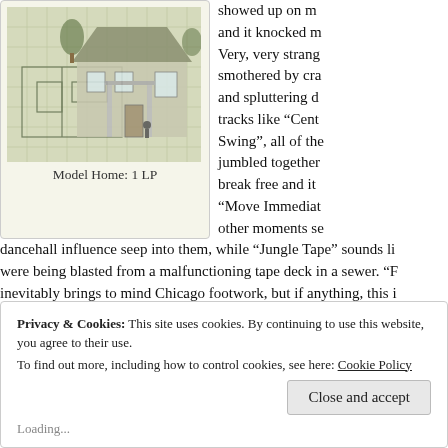[Figure (photo): Composite image of a house/home architectural drawing overlaid with a photograph of a house exterior, tinted in green/sepia tones]
Model Home: 1 LP
showed up on m and it knocked m Very, very strang smothered by cra and spluttering d tracks like “Cent Swing”, all of the jumbled together break free and it “Move Immediat other moments se dancehall influence seep into them, while “Jungle Tape” sounds li were being blasted from a malfunctioning tape deck in a sewer. “F inevitably brings to mind Chicago footwork, but if anything, this i stranger corners of that style like DJ Nate or RP Boo than the mor from the Teklife crew. The LP ends with an unlisted bonus track fi outs and excited synth bubbles and bloops. Super exciting, way av recommended for fans of Occasional Detroit and Sensational at hi
Privacy & Cookies: This site uses cookies. By continuing to use this website, you agree to their use.
To find out more, including how to control cookies, see here: Cookie Policy
Close and accept
Loading...